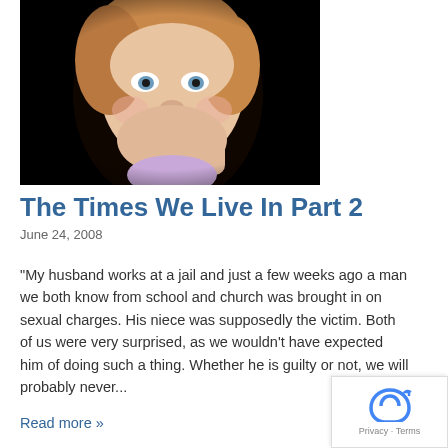[Figure (photo): Close-up portrait of a young child with curly blonde hair, resting chin on hand, against a dark background, wearing a light purple top]
The Times We Live In Part 2
June 24, 2008
"My husband works at a jail and just a few weeks ago a man we both know from school and church was brought in on sexual charges. His niece was supposedly the victim. Both of us were very surprised, as we wouldn't have expected him of doing such a thing. Whether he is guilty or not, we will probably never...
Read more »